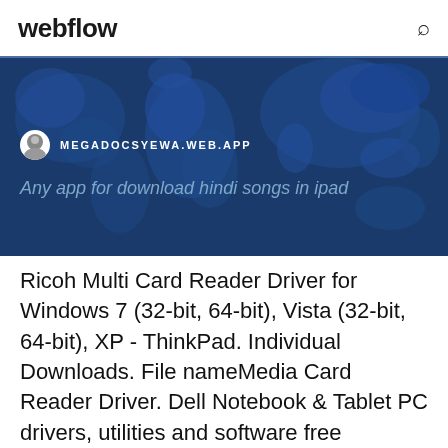webflow
[Figure (screenshot): Webflow website screenshot banner with a dark blue world map background, showing site URL MEGADOCSYEWA.WEB.APP with user avatar icon, and italic query text 'Any app for download hindi songs in ipad']
Ricoh Multi Card Reader Driver for Windows 7 (32-bit, 64-bit), Vista (32-bit, 64-bit), XP - ThinkPad. Individual Downloads. File nameMedia Card Reader Driver. Dell Notebook & Tablet PC drivers, utilities and software free